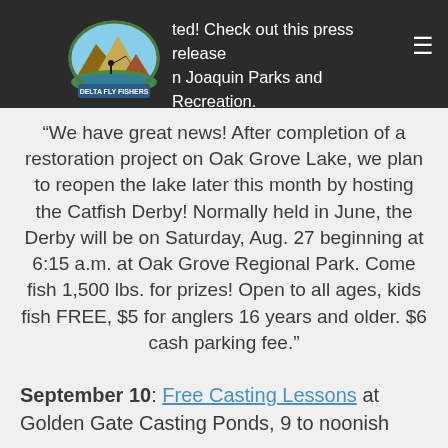ted! Check out this press release on Joaquin Parks and Recreation.
“We have great news! After completion of a restoration project on Oak Grove Lake, we plan to reopen the lake later this month by hosting the Catfish Derby! Normally held in June, the Derby will be on Saturday, Aug. 27 beginning at 6:15 a.m. at Oak Grove Regional Park. Come fish 1,500 lbs. for prizes! Open to all ages, kids fish FREE, $5 for anglers 16 years and older. $6 cash parking fee.”
September 10: Free Casting Lessons at Golden Gate Casting Ponds, 9 to noonish